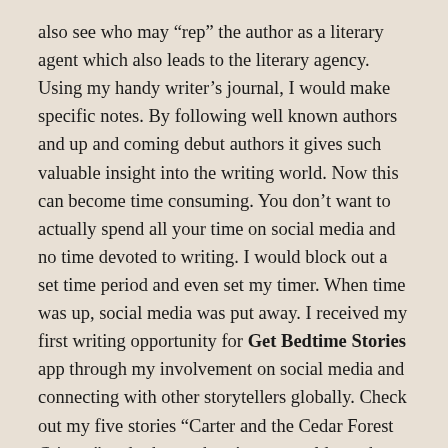also see who may “rep” the author as a literary agent which also leads to the literary agency. Using my handy writer’s journal, I would make specific notes. By following well known authors and up and coming debut authors it gives such valuable insight into the writing world. Now this can become time consuming. You don’t want to actually spend all your time on social media and no time devoted to writing. I would block out a set time period and even set my timer. When time was up, social media was put away. I received my first writing opportunity for Get Bedtime Stories app through my involvement on social media and connecting with other storytellers globally. Check out my five stories “Carter and the Cedar Forest Critters” and other authors’ story worlds on the app. The publishers are always interested in meeting new authors.